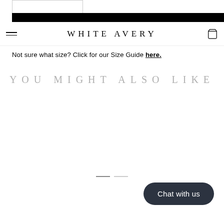[Figure (screenshot): Small image placeholder rectangle at top left]
WHITE AVERY
Not sure what size? Click for our Size Guide here.
YOU MIGHT ALSO LIKE
[Figure (other): Carousel slide indicator — two dashes, one darker (active) and one lighter (inactive)]
Chat with us